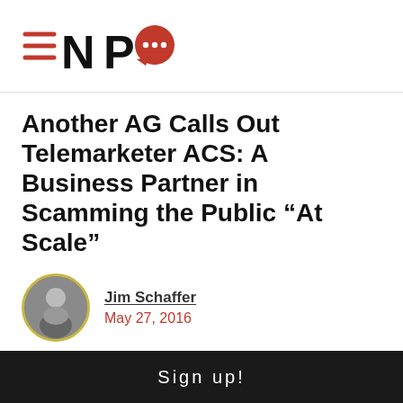[Figure (logo): NPQ logo with hamburger menu icon, letters NP and red speech bubble with dots]
Another AG Calls Out Telemarketer ACS: A Business Partner in Scamming the Public “At Scale”
Jim Schaffer
May 27, 2016
[Figure (infographic): Social sharing buttons: Facebook, Twitter, LinkedIn, Email, Print]
Sign up!